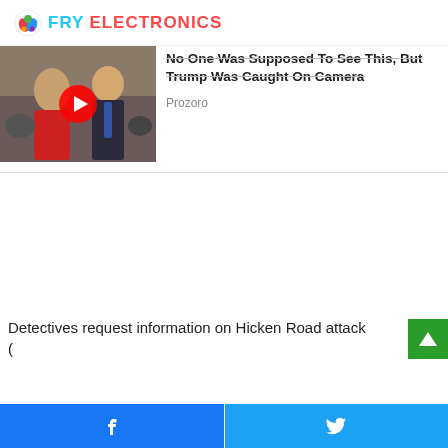FRY ELECTRONICS
[Figure (screenshot): Thumbnail image of two people, with a YouTube play button overlay]
No One Was Supposed To See This, But Trump Was Caught On Camera
Prozoro
Detectives request information on Hicken Road attack (
Facebook share | Twitter share